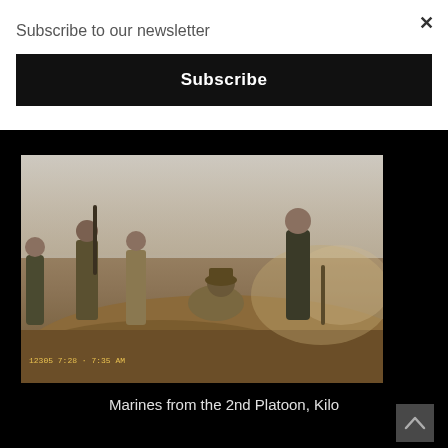Subscribe to our newsletter
×
Subscribe
[Figure (photo): Military photo showing Marines from the 2nd Platoon, Kilo, working in sandy/dusty terrain. Several soldiers in combat gear are digging or working in the dirt. A timestamp reads 12305 7:28 7:35 AM.]
Marines from the 2nd Platoon, Kilo